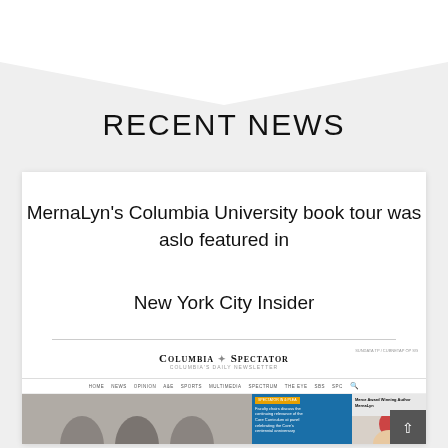[Figure (illustration): Gray background with a downward-pointing chevron/arrow shape at the top of the page]
RECENT NEWS
MernaLyn's Columbia University book tour was aslo featured in

New York City Insider
[Figure (screenshot): Screenshot of the Columbia Spectator newspaper website showing the logo, navigation bar (Home, News, Opinion, A&E, Sports, Multimedia, Spectrum, The Eye, SBS, SPC), and article thumbnails including one about faculty chairs discussing the Core Curriculum and one featuring Merce Award Winning Author MernaLyn]